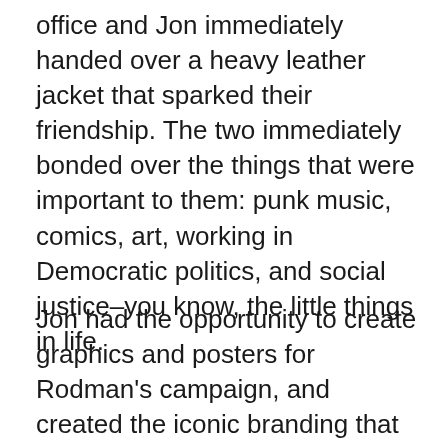office and Jon immediately handed over a heavy leather jacket that sparked their friendship. The two immediately bonded over the things that were important to them: punk music, comics, art, working in Democratic politics, and social justice–you know, the little things in life.
Jon had the opportunity to create graphics and posters for Rodman's campaign, and created the iconic branding that makes her pink glasses stand out from a block away. They continued working together for Elizabeth Warren's presidential campaign. From there, the two